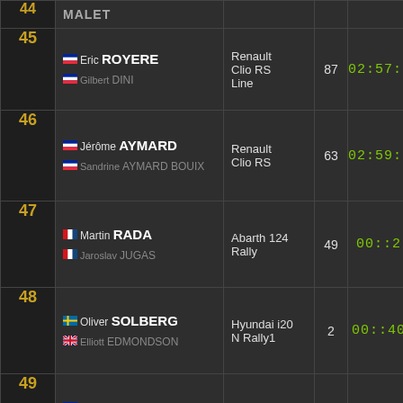| Pos | Driver/Co-driver | Car | No. | Time | Diff |
| --- | --- | --- | --- | --- | --- |
| 44 | MALET |  |  |  |  |
| 45 | Eric ROYERE / Gilbert DINI (FR/FR) | Renault Clio RS Line | 87 | 02:57:59.4 | + |
| 46 | Jérôme AYMARD / Sandrine AYMARD BOUIX (FR/FR) | Renault Clio RS | 63 | 02:59:16.9 | + |
| 47 | Martin RADA / Jaroslav JUGAS (CZ/CZ) | Abarth 124 Rally | 49 | 00::2.6 | + |
| 48 | Oliver SOLBERG / Elliott EDMONDSON (SE/GB) | Hyundai i20 N Rally1 | 2 | 00::40.6 | + |
| 49 | Jean Marc GUILLON / Guillaume FERRARI (FR/FR) | Peugeot 208 | 71 | 03:01:23.4 | + |